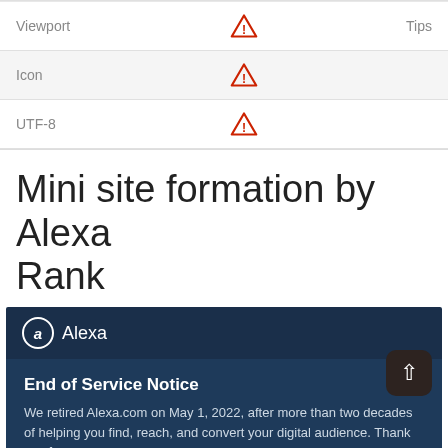|  |  | Tips |
| --- | --- | --- |
| Viewport | ⚠ | Tips |
| Icon | ⚠ |  |
| UTF-8 | ⚠ |  |
Mini site formation by Alexa Rank
[Figure (screenshot): Alexa logo bar and End of Service Notice box. Shows the Alexa brand bar in dark navy with the Alexa logo and name, followed by a darker blue box titled 'End of Service Notice' with text about retiring Alexa.com on May 1, 2022.]
End of Service Notice
We retired Alexa.com on May 1, 2022, after more than two decades of helping you find, reach, and convert your digital audience. Thank you for
MOZ Rank